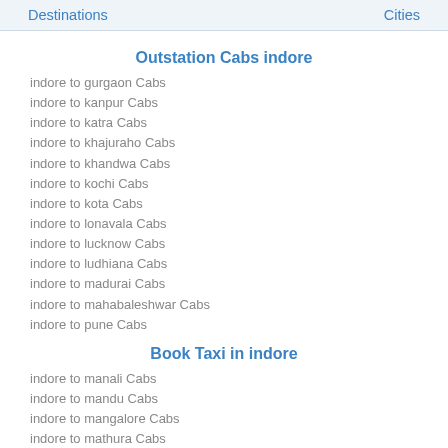Destinations   Cities
Outstation Cabs indore
indore to gurgaon Cabs
indore to kanpur Cabs
indore to katra Cabs
indore to khajuraho Cabs
indore to khandwa Cabs
indore to kochi Cabs
indore to kota Cabs
indore to lonavala Cabs
indore to lucknow Cabs
indore to ludhiana Cabs
indore to madurai Cabs
indore to mahabaleshwar Cabs
indore to pune Cabs
Book Taxi in indore
indore to manali Cabs
indore to mandu Cabs
indore to mangalore Cabs
indore to mathura Cabs
indore to meerut Cabs
indore to mumbai Cabs
indore to nashik Cabs
indore to navi mumbai Cabs
indore to noida Cabs
indore to omkareshwar Cabs
indore to orchha Cabs
indore to patna Cabs
indore to bhopal Cabs